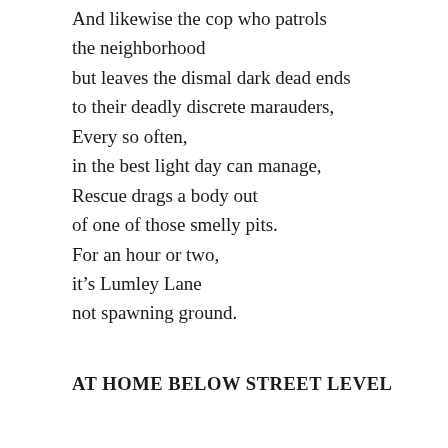And likewise the cop who patrols
the neighborhood
but leaves the dismal dark dead ends
to their deadly discrete marauders,
Every so often,
in the best light day can manage,
Rescue drags a body out
of one of those smelly pits.
For an hour or two,
it's Lumley Lane
not spawning ground.
AT HOME BELOW STREET LEVEL
occasional glance through the window bars